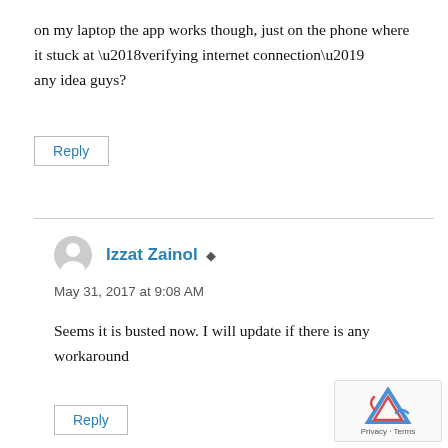on my laptop the app works though, just on the phone where it stuck at ‘verifying internet connection’
any idea guys?
Reply
Izzat Zainol •
May 31, 2017 at 9:08 AM
Seems it is busted now. I will update if there is any workaround
Reply